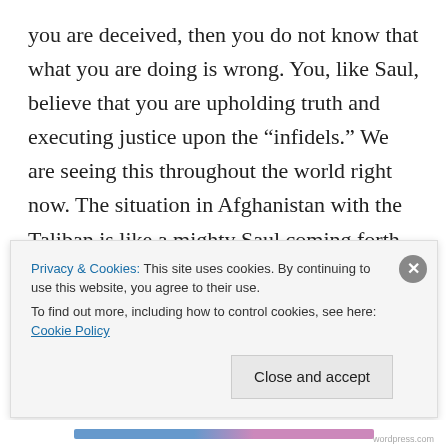you are deceived, then you do not know that what you are doing is wrong. You, like Saul, believe that you are upholding truth and executing justice upon the “infidels.” We are seeing this throughout the world right now. The situation in Afghanistan with the Taliban is like a mighty Saul coming forth in absolute deception to destroy the infidels.
But we have the prayer of Jesus in Luke 23:34 and of
Privacy & Cookies: This site uses cookies. By continuing to use this website, you agree to their use.
To find out more, including how to control cookies, see here: Cookie Policy
Close and accept